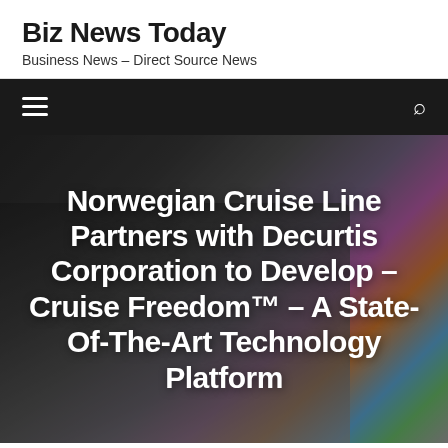Biz News Today
Business News – Direct Source News
[Figure (screenshot): Dark navigation bar with hamburger menu icon on the left and search icon on the right]
[Figure (photo): Hero image showing a laptop with colorful bokeh lights in the background, overlaid with article headline text in white bold font]
Norwegian Cruise Line Partners with Decurtis Corporation to Develop – Cruise Freedom™ – A State-Of-The-Art Technology Platform